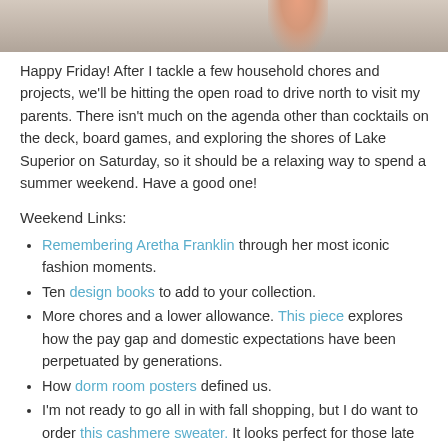[Figure (photo): Top portion of a photo showing what appears to be a hand or fingers against a light textured background]
Happy Friday! After I tackle a few household chores and projects, we'll be hitting the open road to drive north to visit my parents. There isn't much on the agenda other than cocktails on the deck, board games, and exploring the shores of Lake Superior on Saturday, so it should be a relaxing way to spend a summer weekend. Have a good one!
Weekend Links:
Remembering Aretha Franklin through her most iconic fashion moments.
Ten design books to add to your collection.
More chores and a lower allowance. This piece explores how the pay gap and domestic expectations have been perpetuated by generations.
How dorm room posters defined us.
I'm not ready to go all in with fall shopping, but I do want to order this cashmere sweater. It looks perfect for those late summer evenings when it's a little too cool to wear a tank. I'm going with